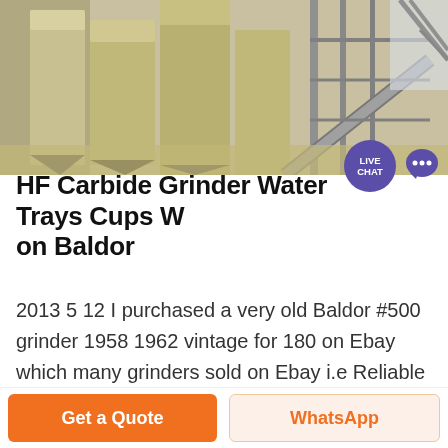[Figure (photo): Industrial machinery — large silos, conveyor belt structure, and metal framework, photographed from below looking up, yellowish/beige tones.]
HF Carbide Grinder Water Trays Cups Work on Baldor
2013 5 12 I purchased a very old Baldor #500 grinder 1958 1962 vintage for 180 on Ebay which many grinders sold on Ebay i.e Reliable Tools are check out HF for cheap replacements I have a Delta/Rockwell carbide grinder that s missing the trays and if the mountings are the same I ll order them from HF like you did Thanks .